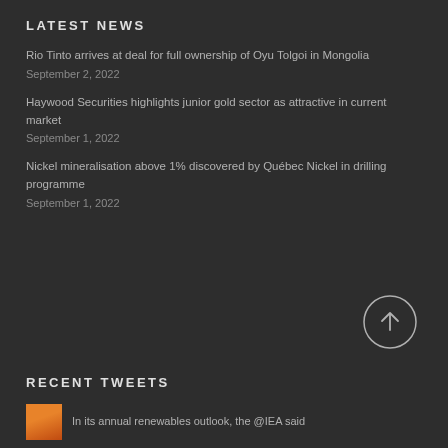LATEST NEWS
Rio Tinto arrives at deal for full ownership of Oyu Tolgoi in Mongolia
September 2, 2022
Haywood Securities highlights junior gold sector as attractive in current market
September 1, 2022
Nickel mineralisation above 1% discovered by Québec Nickel in drilling programme
September 1, 2022
RECENT TWEETS
In its annual renewables outlook, the @IEA said